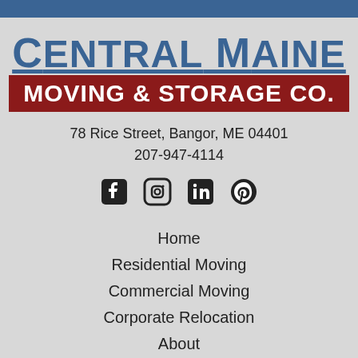[Figure (logo): Central Maine Moving & Storage Co. logo with blue text on top and white text on dark red banner below]
78 Rice Street, Bangor, ME 04401
207-947-4114
[Figure (other): Social media icons: Facebook, Instagram, LinkedIn, Pinterest]
Home
Residential Moving
Commercial Moving
Corporate Relocation
About
Blog